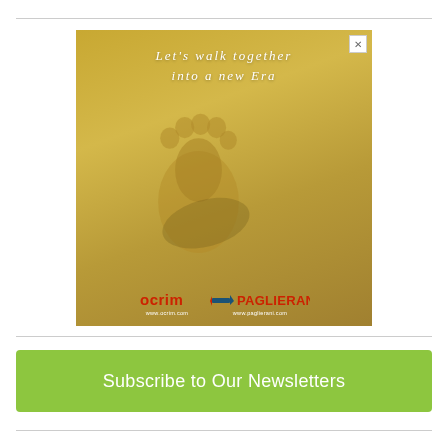[Figure (illustration): Advertisement banner with sandy beach background showing a footprint impression in sand. Text reads 'Let's walk together into a new Era'. Logos for OCRIM (www.ocrim.com) and PAGLIERANI (www.paglierani.com) appear at the bottom. A close button (X) appears in the top-right corner.]
Subscribe to Our Newsletters